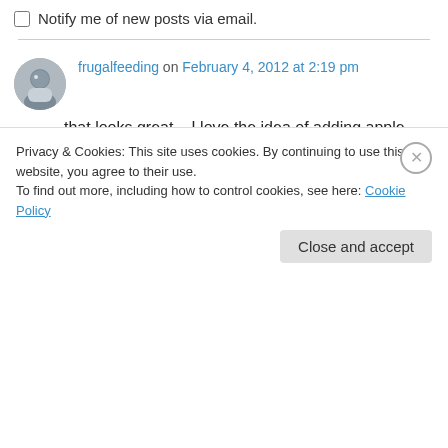Notify me of new posts via email.
frugalfeeding on February 4, 2012 at 2:19 pm
that looks great – I love the idea of adding apple puree. This sounds utterly delicious.
↳ Reply
Dr Nancy P on February 5, 2012 at 3:49 pm
Privacy & Cookies: This site uses cookies. By continuing to use this website, you agree to their use.
To find out more, including how to control cookies, see here: Cookie Policy